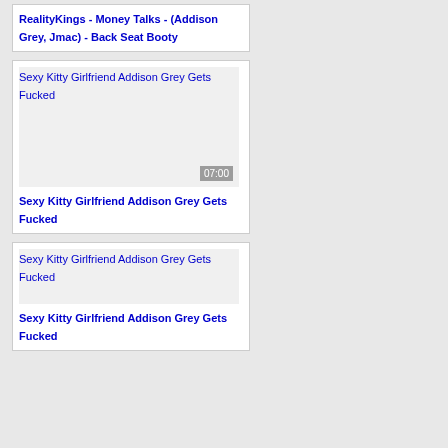RealityKings - Money Talks - (Addison Grey, Jmac) - Back Seat Booty
[Figure (screenshot): Thumbnail image placeholder for Sexy Kitty Girlfriend Addison Grey Gets Fucked video with 07:00 duration badge]
Sexy Kitty Girlfriend Addison Grey Gets Fucked
[Figure (screenshot): Thumbnail image placeholder for Sexy Kitty Girlfriend Addison Grey Gets Fucked]
Sexy Kitty Girlfriend Addison Grey Gets Fucked